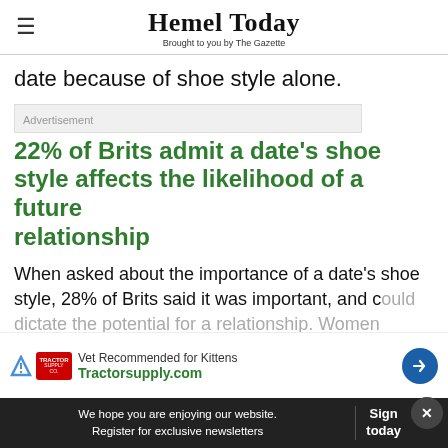Hemel Today — Brought to you by The Gazette
date because of shoe style alone.
Advertisement
22% of Brits admit a date’s shoe style affects the likelihood of a future relationship
When asked about the importance of a date’s shoe style, 28% of Brits said it was important, and could dictate the potential for a relationship. Women
[Figure (screenshot): Advertisement banner: Vet Recommended for Kittens, Tractorsupply.com]
We hope you are enjoying our website. Register for exclusive newsletters | Sign today